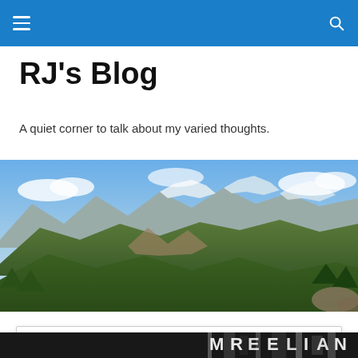RJ's Blog navigation bar with hamburger menu and search icon
RJ's Blog
A quiet corner to talk about my varied thoughts.
[Figure (photo): Panoramic mountain landscape with green forested hills, rocky peaks, and clouds in a blue sky]
Privacy & Cookies: This site uses cookies. By continuing to use this website, you agree to their use.
To find out more, including how to control cookies, see here: Cookie Policy
Close and accept
[Figure (photo): Partially visible image strip at the bottom of the page with text/graphic elements]